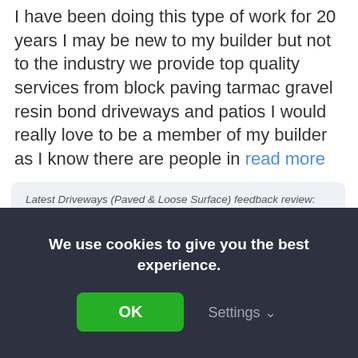I have been doing this type of work for 20 years I may be new to my builder but not to the industry we provide top quality services from block paving tarmac gravel resin bond driveways and patios I would really love to be a member of my builder as I know there are people in read more
Latest Driveways (Paved & Loose Surface) feedback review: Driveway Fix - Driveway needs replacing or changing
The team were quick to start, worked hard and completed the job to a decent standard.
By gormley08 on 13th Jun, 2022
Invite to quote
We use cookies to give you the best experience.
OK
Settings